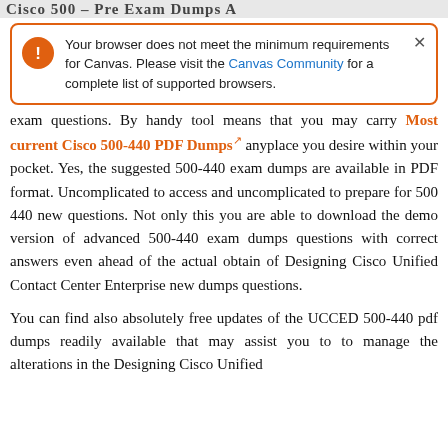Cisco 500 - Pre Exam Dumps  A
[Figure (screenshot): Browser alert box with orange border and icon warning: 'Your browser does not meet the minimum requirements for Canvas. Please visit the Canvas Community for a complete list of supported browsers.' with a close button.]
exam questions. By handy tool means that you may carry Most current Cisco 500-440 PDF Dumps anyplace you desire within your pocket. Yes, the suggested 500-440 exam dumps are available in PDF format. Uncomplicated to access and uncomplicated to prepare for 500 440 new questions. Not only this you are able to download the demo version of advanced 500-440 exam dumps questions with correct answers even ahead of the actual obtain of Designing Cisco Unified Contact Center Enterprise new dumps questions.
You can find also absolutely free updates of the UCCED 500-440 pdf dumps readily available that may assist you to to manage the alterations in the Designing Cisco Unified Contact Center Enterprise questions with latest information.